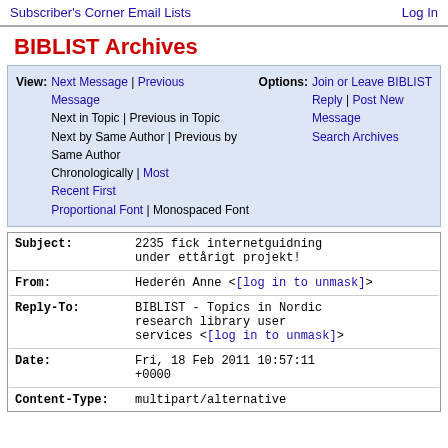Subscriber's Corner   Email Lists   Log In
BIBLIST Archives
View: Next Message | Previous Message | Next in Topic | Previous in Topic | Next by Same Author | Previous by Same Author | Chronologically | Most Recent First | Proportional Font | Monospaced Font   Options: Join or Leave BIBLIST | Reply | Post New Message | Search Archives
| Field | Value |
| --- | --- |
| Subject: | 2235 fick internetguidning under ettårigt projekt! |
| From: | Hederén Anne <[log in to unmask]> |
| Reply-To: | BIBLIST - Topics in Nordic research library user services <[log in to unmask]> |
| Date: | Fri, 18 Feb 2011 10:57:11 +0000 |
| Content-Type: | multipart/alternative |